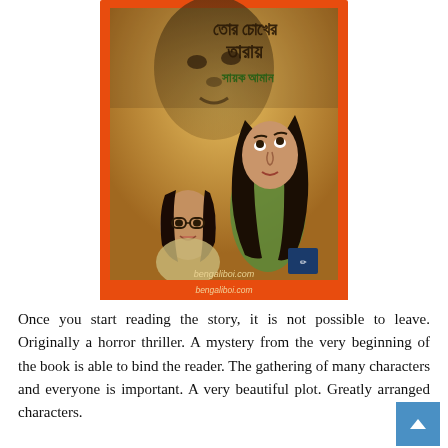[Figure (illustration): Book cover of a Bengali horror thriller. Orange border frame. Dark golden/amber background showing three figures: a large shadowy ghostly face at the top, a young woman with long dark hair looking upward on the right, and a girl with glasses and open mouth on the lower left. Bengali text at the top reads the book title, followed by the author name 'Sayak Aman' in Bengali. A publisher logo appears bottom right. Website url 'bengaliboi.com' printed at the very bottom of the cover.]
Once you start reading the story, it is not possible to leave. Originally a horror thriller. A mystery from the very beginning of the book is able to bind the reader. The gathering of many characters and everyone is important. A very beautiful plot. Greatly arranged characters.